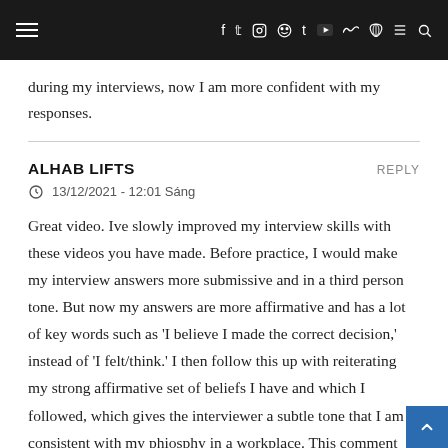≡ f t ☐ ☐ t ▶ ☁ )) ≡ 🔍
during my interviews, now I am more confident with my responses.
ALHAB LIFTS
REPLY
13/12/2021 - 12:01 Sáng
Great video. Ive slowly improved my interview skills with these videos you have made. Before practice, I would make my interview answers more submissive and in a third person tone. But now my answers are more affirmative and has a lot of key words such as 'I believe I made the correct decision,' instead of 'I felt/think.' I then follow this up with reiterating my strong affirmative set of beliefs I have and which I followed, which gives the interviewer a subtle tone that I am consistent with my phiosphy in a workplace. This comment may seem bone dry, but key words make a huge difference in interviews, and be affirmative = it helps show you are